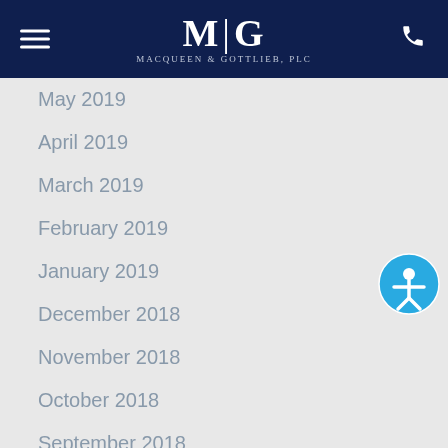M|G MacQueen & Gottlieb, PLC
May 2019
April 2019
March 2019
February 2019
January 2019
December 2018
November 2018
October 2018
September 2018
August 2018
July 2018
June 2018
May 2018
April 2018